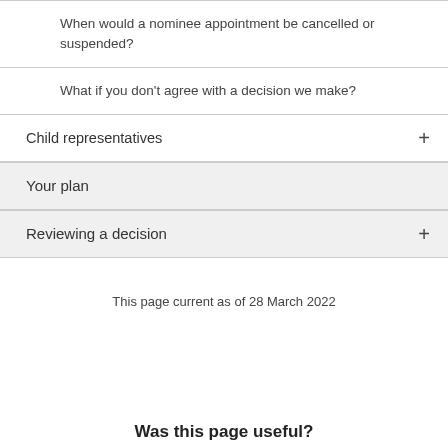When would a nominee appointment be cancelled or suspended?
What if you don't agree with a decision we make?
Child representatives
Your plan
Reviewing a decision
This page current as of 28 March 2022
Was this page useful?